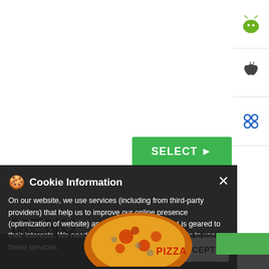[Figure (screenshot): White card area at top of webpage with a green SELECT button with arrow]
SELECT ▶
[Figure (screenshot): Right sidebar with Android robot icon, Apple logo icon, and a four-circle cluster icon]
MENU
[Figure (screenshot): Green WhatsApp bar with text 'WHATSAPP US' and WhatsApp icon]
PIZZA
Cookie Information
× 
On our website, we use services (including from third-party providers) that help us to improve our online presence (optimization of website) and to display content that is geared to their interests. We need your consent before being able to use these services.
I ACCEPT
[Figure (photo): Pizza photo at bottom of page]